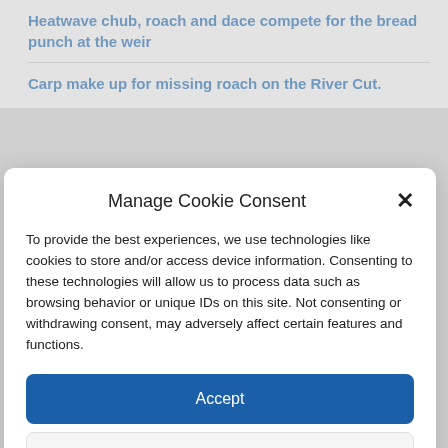Heatwave chub, roach and dace compete for the bread punch at the weir
Carp make up for missing roach on the River Cut.
Manage Cookie Consent
To provide the best experiences, we use technologies like cookies to store and/or access device information. Consenting to these technologies will allow us to process data such as browsing behavior or unique IDs on this site. Not consenting or withdrawing consent, may adversely affect certain features and functions.
Accept
Deny
View preferences
Cookie Policy